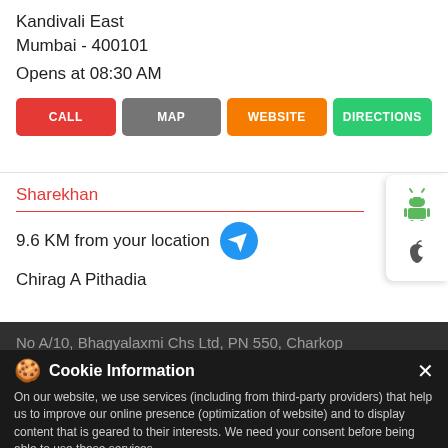Kandivali East
Mumbai - 400101
Opens at 08:30 AM
[Figure (screenshot): Four action buttons: CALL (red), MAP (gray), WEBSITE (orange), DIRECTIONS (green)]
[Figure (screenshot): Side panel with Android and Apple app icons]
Sharekhan
9.6 KM from your location
Chirag A Pithadia
No A/10, Bhagyalaxmi Chs Ltd, PN 550, Charkop
Kandivali East, Sector 5
Mumbai - 400101
Near Oxford Public School
Cookie Information
On our website, we use services (including from third-party providers) that help us to improve our online presence (optimization of website) and to display content that is geared to their interests. We need your consent before being able to use these services.
Book Uber to Sharekhan
T&C Apply